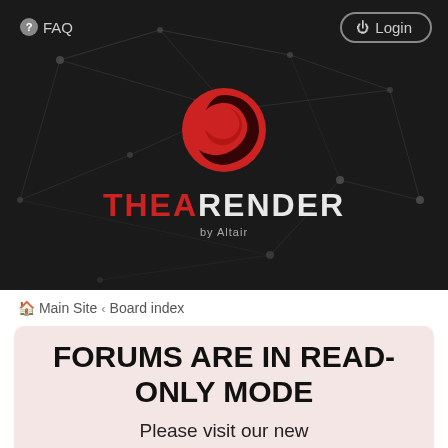FAQ  Login
[Figure (logo): Thea Render by Altair logo — red circular swirl icon above THEARENDER text, set against a dark background with network node/line decorations]
Main Site  ‹  Board index
FORUMS ARE IN READ-ONLY MODE
Please visit our new
Thea Render Community  Existing